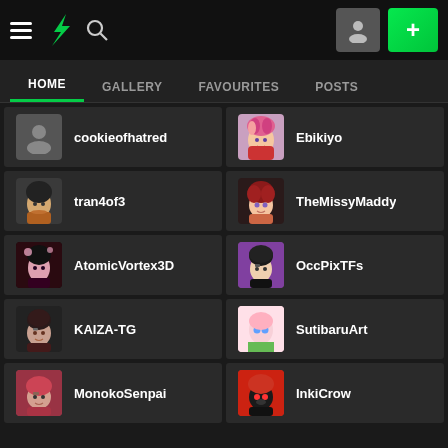[Figure (screenshot): DeviantArt mobile app top navigation bar with hamburger menu, DA logo, search icon, user icon button, and green plus button]
HOME
GALLERY
FAVOURITES
POSTS
cookieofhatred
Ebikiyo
tran4of3
TheMissyMaddy
AtomicVortex3D
OccPixTFs
KAIZA-TG
SutibaruArt
MonokoSenpai
InkiCrow